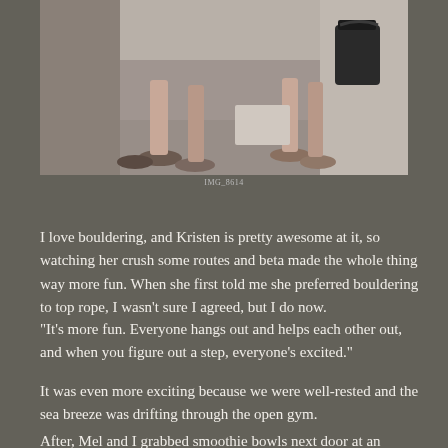[Figure (photo): A photo showing people's feet and legs, standing on a concrete or stone surface. A black bag is visible in the upper right.]
IMG_8614
I love bouldering, and Kristen is pretty awesome at it, so watching her crush some routes and beta made the whole thing way more fun. When she first told me she preferred bouldering to top rope, I wasn't sure I agreed, but I do now.
“It’s more fun. Everyone hangs out and helps each other out, and when you figure out a step, everyone’s excited.”
It was even more exciting because we were well-rested and the sea breeze was drifting through the open gym.
After, Mel and I grabbed smoothie bowls next door at an